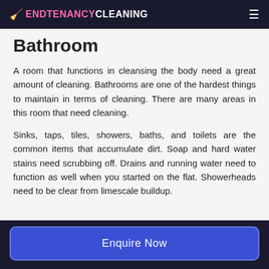🧹 ENDTENANCYCLEANING
Bathroom
A room that functions in cleansing the body need a great amount of cleaning. Bathrooms are one of the hardest things to maintain in terms of cleaning. There are many areas in this room that need cleaning.
Sinks, taps, tiles, showers, baths, and toilets are the common items that accumulate dirt. Soap and hard water stains need scrubbing off. Drains and running water need to function as well when you started on the flat. Showerheads need to be clear from limescale buildup.
Enquire Now